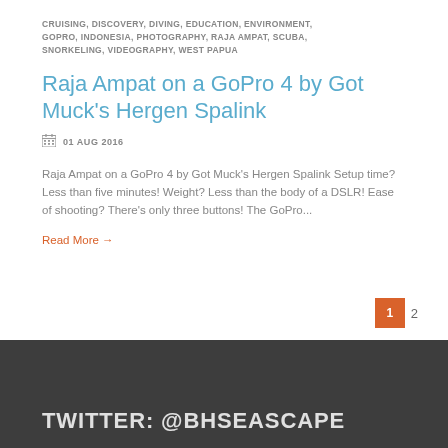CRUISING, DISCOVERY, DIVING, EDUCATION, ENVIRONMENT, GOPRO, INDONESIA, PHOTOGRAPHY, RAJA AMPAT, SCUBA, SNORKELING, VIDEOGRAPHY, WEST PAPUA
Raja Ampat on a GoPro 4 by Got Muck's Hergen Spalink
01 AUG 2016
Raja Ampat on a GoPro 4 by Got Muck's Hergen Spalink Setup time? Less than five minutes! Weight? Less than the body of a DSLR! Ease of shooting? There's only three buttons! The GoPro...
Read More →
1  2
TWITTER: @BHSEASCAPE